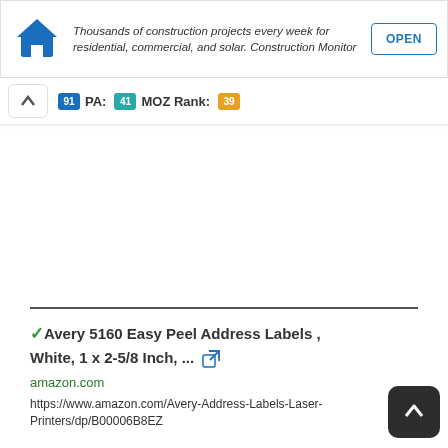[Figure (screenshot): Ad banner for Construction Monitor showing house icon, italic text about construction projects, and blue OPEN button]
PA: 91  MOZ Rank: 41  30
✓Avery 5160 Easy Peel Address Labels , White, 1 x 2-5/8 Inch, ...
amazon.com
https://www.amazon.com/Avery-Address-Labels-Laser-Printers/dp/B00006B8EZ